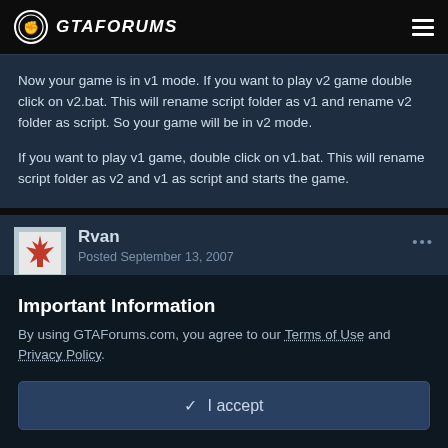GTAFORUMS
Now your game is in v1 mode. If you want to play v2 game double click on v2.bat. This will rename script folder as v1 and rename v2 folder as script. So your game will be in v2 mode.
If you want to play v1 game, double click on v1.bat. This will rename script folder as v2 and v1 as script and starts the game.
Rvan
Posted September 13, 2007
Important Information
By using GTAForums.com, you agree to our Terms of Use and Privacy Policy.
✓  I accept